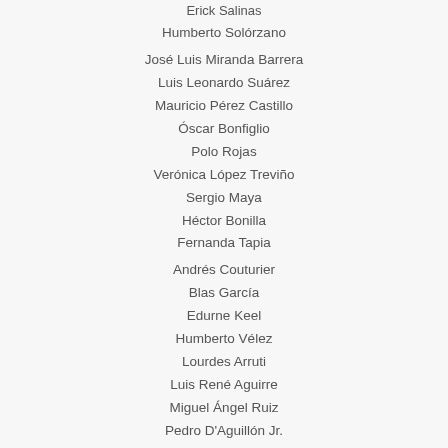Erick Salinas
Humberto Solórzano
José Luis Miranda Barrera
Luis Leonardo Suárez
Mauricio Pérez Castillo
Óscar Bonfiglio
Polo Rojas
Verónica López Treviño
Sergio Maya
Héctor Bonilla
Fernanda Tapia
Andrés Couturier
Blas García
Edurne Keel
Humberto Vélez
Lourdes Arruti
Luis René Aguirre
Miguel Ángel Ruiz
Pedro D'Aguillón Jr.
Raymundo Armijo Ugalde
Rocío Garcel